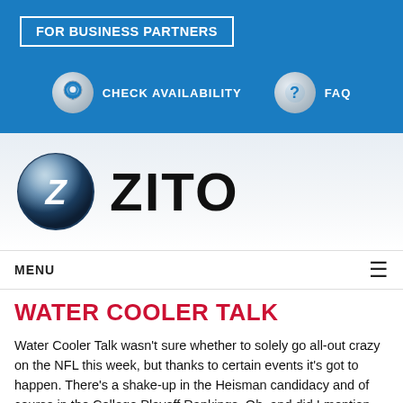[Figure (screenshot): Blue header bar with 'FOR BUSINESS PARTNERS' button and navigation icons for 'CHECK AVAILABILITY' and 'FAQ']
[Figure (logo): Zito logo: dark blue glossy circle with white Z letter, followed by bold text 'ZITO']
MENU
WATER COOLER TALK
Water Cooler Talk wasn't sure whether to solely go all-out crazy on the NFL this week, but thanks to certain events it's got to happen.  There's a shake-up in the Heisman candidacy and of course in the College Playoff Rankings.  Oh, and did I mention some things